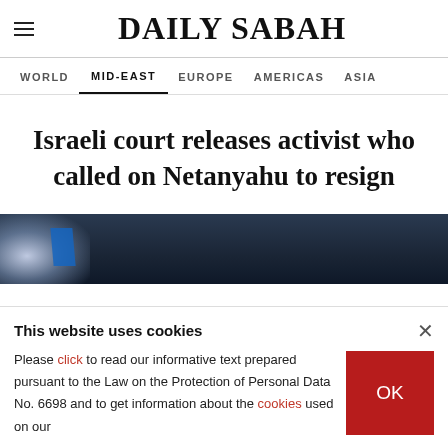DAILY SABAH
WORLD  MID-EAST  EUROPE  AMERICAS  ASIA
Israeli court releases activist who called on Netanyahu to resign
[Figure (photo): Dark background photo, likely showing a flag or official setting with blue element visible]
This website uses cookies
Please click to read our informative text prepared pursuant to the Law on the Protection of Personal Data No. 6698 and to get information about the cookies used on our